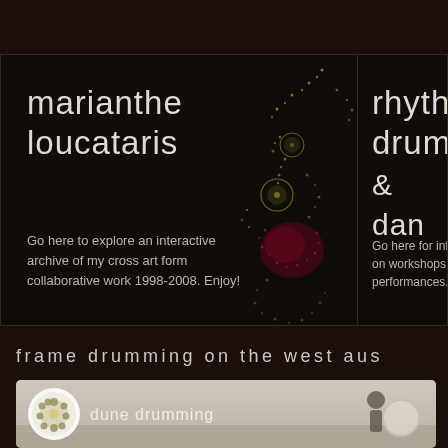marianthe loucataris
Go here to explore an interactive archive of my cross art form collaborative work 1998-2008. Enjoy!
[Figure (illustration): Dark background with neural/organic art illustration showing glowing dotted lines forming abstract shapes in yellow-green and red on dark background]
rhyth drum & dan
Go here for infor on workshops, cl performances.
frame drumming on the west aus
[Figure (screenshot): Video thumbnail showing dune drumming - a circular icon with a pattern on left, text 'dune drumming', and a person playing a frame drum on the right against a light sky background]